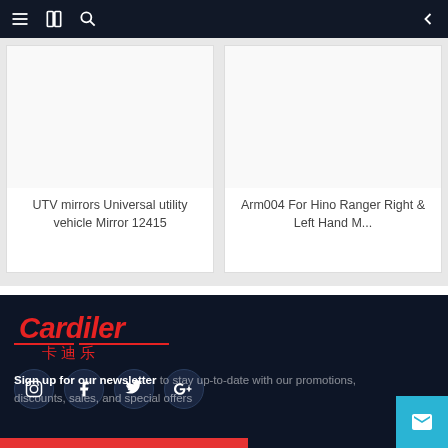Navigation bar with menu, book, search icons and back arrow
UTV mirrors Universal utility vehicle Mirror 12415
Arm004 For Hino Ranger Right & Left Hand M...
[Figure (logo): Cardiler brand logo in red with Chinese characters 卡迪乐]
[Figure (infographic): Social media icons: Instagram, Facebook, Twitter, Google+]
Sign up for our newsletter to stay up-to-date with our promotions, discounts, sales, and special offers